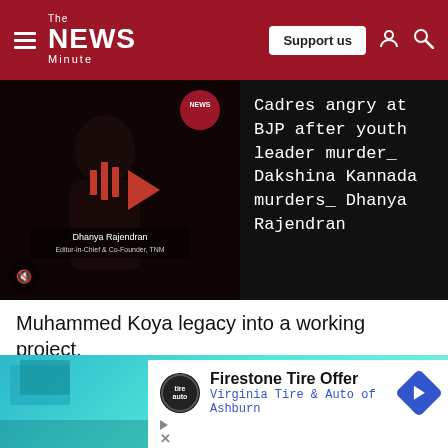[Figure (screenshot): The News Minute website header with hamburger menu, logo, Support us button, user icon, and search icon on dark red background]
[Figure (screenshot): Video thumbnail showing a woman (Dhanya Rajendran) with play button. Right side shows text: Cadres angry at BJP after youth leader murder_ Dakshina Kannada murders_ Dhanya Rajendran. NEWS badge visible. Mute icon at bottom left.]
Muhammed Koya legacy into a working project.
[Figure (screenshot): Bottom section showing a teal-colored background image with flags and people, overlaid by an advertisement box for Firestone Tire Offer / Virginia Tire & Auto of Ashburn with play and X controls.]